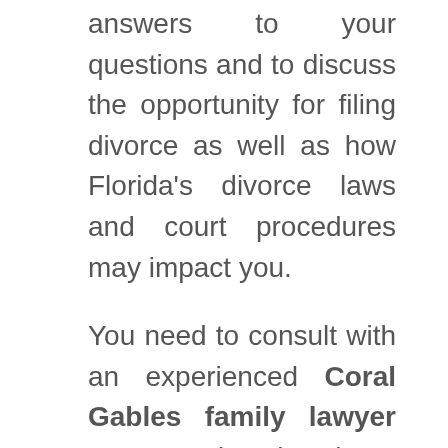answers to your questions and to discuss the opportunity for filing divorce as well as how Florida's divorce laws and court procedures may impact you.
You need to consult with an experienced Coral Gables family lawyer sooner rather than later. Getting legal help empowers you to understand your choices and to determine the best course of action for you and your family.
Learn more about how divorce is contributing to changes across the US in terms of